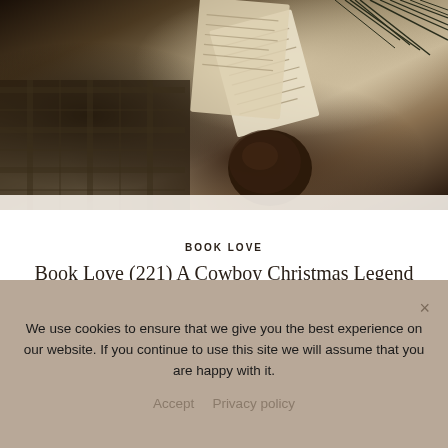[Figure (photo): Overhead/flat-lay photo of open books, pine needles, a dark round object (cookie or ornament), and a textured plaid blanket/fabric in warm sepia and dark brown tones.]
BOOK LOVE
Book Love (221) A Cowboy Christmas Legend
We use cookies to ensure that we give you the best experience on our website. If you continue to use this site we will assume that you are happy with it.
Accept  Privacy policy